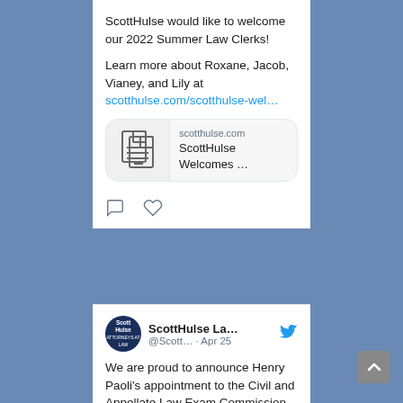ScottHulse would like to welcome our 2022 Summer Law Clerks!
Learn more about Roxane, Jacob, Vianey, and Lily at scotthulse.com/scotthulse-wel…
[Figure (screenshot): Link preview card showing scotthulse.com domain, with a document icon on the left and text 'ScottHulse Welcomes …' on the right]
ScottHulse La... @Scott… · Apr 25
We are proud to announce Henry Paoli's appointment to the Civil and Appellate Law Exam Commission.